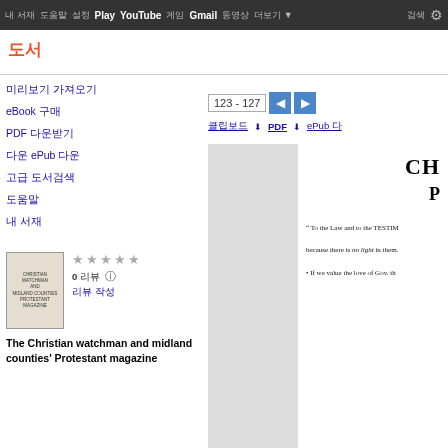내 서재 / 도움말 / Play YouTube 게임 Gmail 동영상 더보기▼
도서
미리보기 가져오기
eBook 구매
PDF 다운받기
다운 ePub 다운
고급 도서검색
도움말
내 서재
[Figure (screenshot): Book cover thumbnail for The Christian watchman and midland counties Protestant magazine]
★★★★★ 0 리뷰 리뷰 작성
The Christian watchman and midland counties' Protestant magazine
123 - 127
PDF 다운받기 ePub 다운
[Figure (screenshot): Page preview showing chapter heading CH and paragraph heading P, with text: To the Law and to the TESTIM... because there is no light in them. If we value the love of Gov. th...]